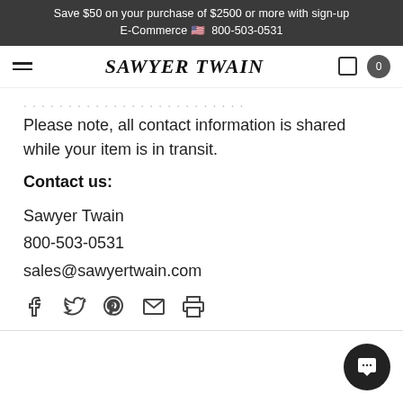Save $50 on your purchase of $2500 or more with sign-up
E-Commerce 🇺🇸 800-503-0531
SAWYER TWAIN
Please note, all contact information is shared while your item is in transit.
Contact us:
Sawyer Twain
800-503-0531
sales@sawyertwain.com
[Figure (other): Social share icons: Facebook, Twitter, Pinterest, Email, Print]